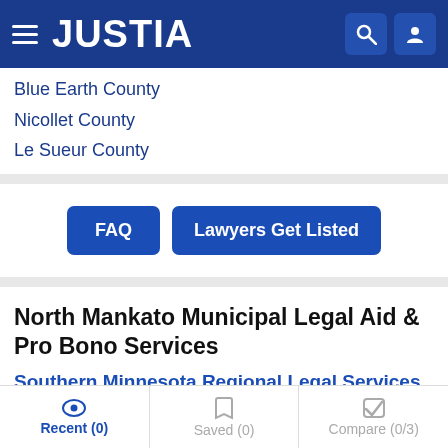JUSTIA
Blue Earth County
Nicollet County
Le Sueur County
FAQ | Lawyers Get Listed
North Mankato Municipal Legal Aid & Pro Bono Services
Southern Minnesota Regional Legal Services Volunteer Attorney Program
(507) 387-5588
Recent (0)  Saved (0)  Compare (0/3)